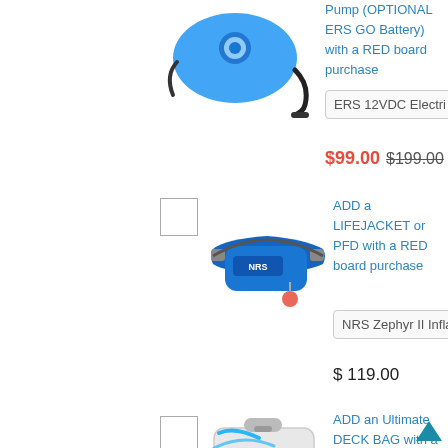[Figure (photo): Blue electric pump product image (ERS Electric Pump) shown partially at top]
Pump (OPTIONAL ERS GO Battery) with a RED board purchase
ERS 12VDC Electri
$99.00  $199.00
[Figure (photo): Blue NRS Zephyr II inflatable life jacket / PFD product image]
ADD a LIFEJACKET or PFD with a RED board purchase
NRS Zephyr II Inflat
$ 119.00
[Figure (photo): White/blue ERS Ultimate Deck Bag product image]
ADD an Ultimate DECK BAG with a RED Paddle Co board purchase
ERS Ultimate DECK